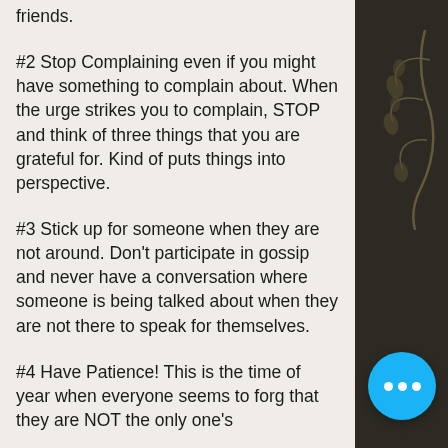friends.
#2 Stop Complaining even if you might have something to complain about. When the urge strikes you to complain, STOP and think of three things that you are grateful for. Kind of puts things into perspective.
#3 Stick up for someone when they are not around. Don't participate in gossip and never have a conversation where someone is being talked about when they are not there to speak for themselves.
#4 Have Patience! This is the time of year when everyone seems to forg that they are NOT the only one's